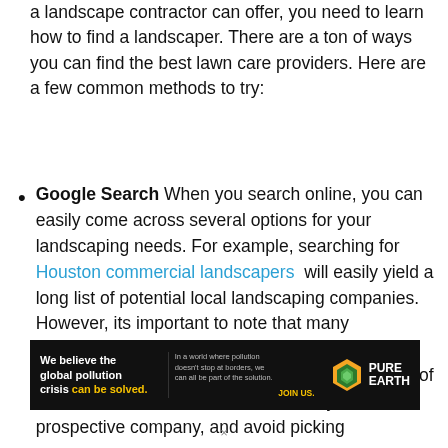a landscape contractor can offer, you need to learn how to find a landscaper. There are a ton of ways you can find the best lawn care providers. Here are a few common methods to try:
Google Search When you search online, you can easily come across several options for your landscaping needs. For example, searching for Houston commercial landscapers will easily yield a long list of potential local landscaping companies. However, its important to note that many companies use a technique called Search Engine Optimization or SEO to attempt to rank to the top of the search results. Learn more about your prospective company, and avoid picking
[Figure (infographic): Pure Earth advertisement banner. Black background. Left side: bold white text 'We believe the global pollution crisis can be solved.' with 'can be solved.' in yellow/orange. Middle: small white text 'In a world where pollution doesn't stop at borders, we can all be part of the solution.' with 'JOIN US.' in yellow. Right side: Pure Earth logo (orange diamond with leaf/globe icon) and 'PURE EARTH' in white bold text.]